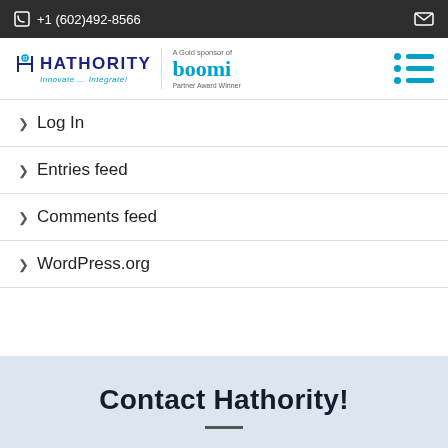+1 (602)492-8566
[Figure (logo): Hathority logo with tagline 'Innovate... Integrate!' and Boomi Gold Sponsor Partner Award Winner badge]
Log In
Entries feed
Comments feed
WordPress.org
Contact Hathority!